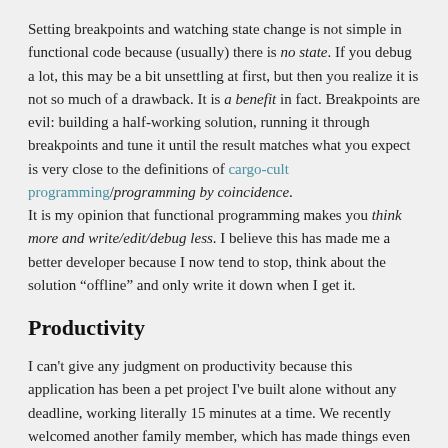Setting breakpoints and watching state change is not simple in functional code because (usually) there is no state. If you debug a lot, this may be a bit unsettling at first, but then you realize it is not so much of a drawback. It is a benefit in fact. Breakpoints are evil: building a half-working solution, running it through breakpoints and tune it until the result matches what you expect is very close to the definitions of cargo-cult programming/programming by coincidence. It is my opinion that functional programming makes you think more and write/edit/debug less. I believe this has made me a better developer because I now tend to stop, think about the solution “offline” and only write it down when I get it.
Productivity
I can't give any judgment on productivity because this application has been a pet project I've built alone without any deadline, working literally 15 minutes at a time. We recently welcomed another family member, which has made things even harder. Anyways it took me about 7 months to complete this project, but it's very hard for me to tell if F# has given any